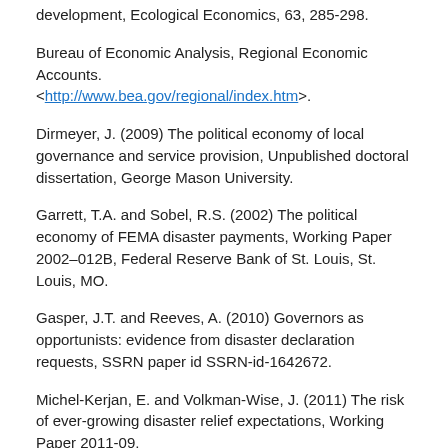development, Ecological Economics, 63, 285-298.
Bureau of Economic Analysis, Regional Economic Accounts. <http://www.bea.gov/regional/index.htm>.
Dirmeyer, J. (2009) The political economy of local governance and service provision, Unpublished doctoral dissertation, George Mason University.
Garrett, T.A. and Sobel, R.S. (2002) The political economy of FEMA disaster payments, Working Paper 2002–012B, Federal Reserve Bank of St. Louis, St. Louis, MO.
Gasper, J.T. and Reeves, A. (2010) Governors as opportunists: evidence from disaster declaration requests, SSRN paper id SSRN-id-1642672.
Michel-Kerjan, E. and Volkman-Wise, J. (2011) The risk of ever-growing disaster relief expectations, Working Paper 2011-09,